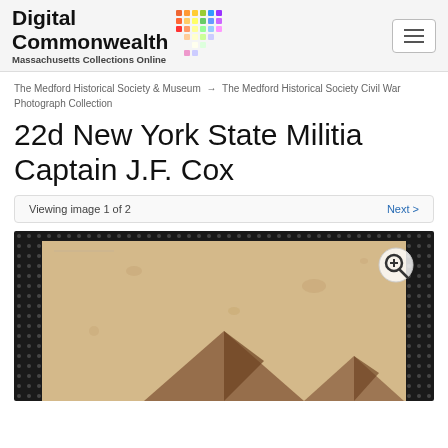Digital Commonwealth Massachusetts Collections Online
The Medford Historical Society & Museum → The Medford Historical Society Civil War Photograph Collection
22d New York State Militia Captain J.F. Cox
Viewing image 1 of 2    Next >
[Figure (photo): Partial view of a historical photograph showing tent structures on aged, stained paper background, displayed in an image viewer with dark dot-pattern border and a zoom-in button in the upper right corner.]